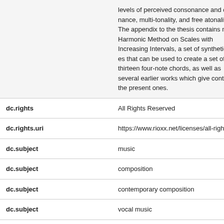levels of perceived consonance and dissonance, multi-tonality, and free atonality. The appendix to the thesis contains my Harmonic Method on Scales with Increasing Intervals, a set of synthetic scales that can be used to create a set of thirteen four-note chords, as well as several earlier works which give context to the present ones.
| dc.rights | All Rights Reserved |
| dc.rights.uri | https://www.rioxx.net/licenses/all-rights-re... |
| dc.subject | music |
| dc.subject | composition |
| dc.subject | contemporary composition |
| dc.subject | vocal music |
| dc.subject | instrumental music |
| dc.subject | landscape in music |
| dc.subject | song cycle |
| dc.subject | word setting |